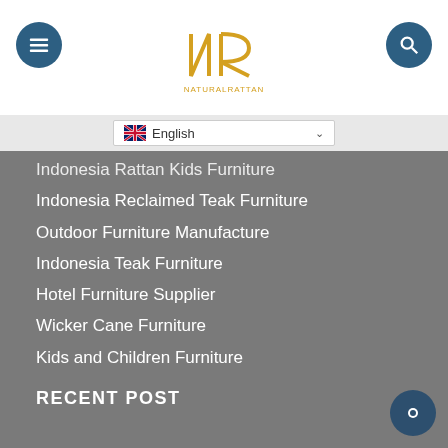[Figure (logo): NR Natural Rattan logo in gold/yellow color]
English
Indonesia Rattan Kids Furniture
Indonesia Reclaimed Teak Furniture
Outdoor Furniture Manufacture
Indonesia Teak Furniture
Hotel Furniture Supplier
Wicker Cane Furniture
Kids and Children Furniture
Baby Furniture and Rattan Toys
Home Furniture Supplier Indon
Rattan Furniture
Home Furniture and Home Decor
RECENT POST